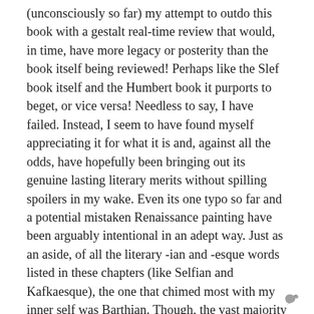(unconsciously so far) my attempt to outdo this book with a gestalt real-time review that would, in time, have more legacy or posterity than the book itself being reviewed! Perhaps like the Slef book itself and the Humbert book it purports to beget, or vice versa! Needless to say, I have failed. Instead, I seem to have found myself appreciating it for what it is and, against all the odds, have hopefully been bringing out its genuine lasting literary merits without spilling spoilers in my wake. Even its one typo so far and a potential mistaken Renaissance painting have been arguably intentional in an adept way. Just as an aside, of all the literary -ian and -esque words listed in these chapters (like Selfian and Kafkaesque), the one that chimed most with my inner self was Barthian. Though, the vast majority of the others fully run through my veins. And now, with a “thruppence” and a “Tupperware”, I prepare myself to read the last few chapters and to round off this review below...
[Figure (illustration): Small grey bird silhouette icon at bottom right corner]